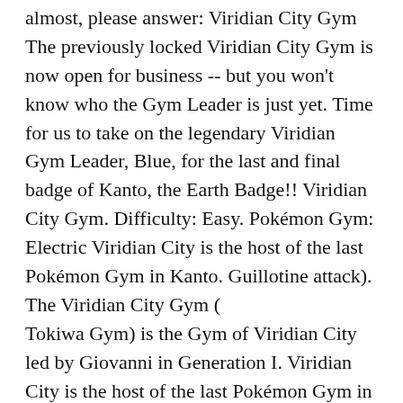almost, please answer: Viridian City Gym The previously locked Viridian City Gym is now open for business -- but you won't know who the Gym Leader is just yet. Time for us to take on the legendary Viridian Gym Leader, Blue, for the last and final badge of Kanto, the Earth Badge!! Viridian City Gym. Difficulty: Easy. Pokémon Gym: Electric Viridian City is the host of the last Pokémon Gym in Kanto. Guillotine attack). The Viridian City Gym (　　　　　　Tokiwa Gym) is the Gym of Viridian City led by Giovanni in Generation I. Viridian City is the host of the last Pokémon Gym in Kanto. Free Return Exchange or money back guarantee for all orders … Plus, every one of the starters (Charmander only counts if it's a Charizard) can easily K.O Giovanni's pokémon. This should be an easy quiz if you played the Game Boy game.